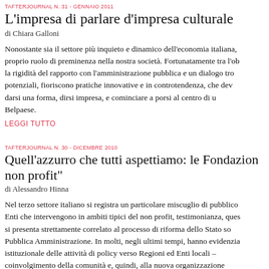TAFTERJOURNAL N. 31 - GENNAIO 2011
L'impresa di parlare d'impresa culturale
di Chiara Galloni
Nonostante sia il settore più inquieto e dinamico dell'economia italiana, proprio ruolo di preminenza nella nostra società. Fortunatamente tra l'ob la rigidità del rapporto con l'amministrazione pubblica e un dialogo tro potenziali, fioriscono pratiche innovative e in controtendenza, che dev darsi una forma, dirsi impresa, e cominciare a porsi al centro di u Belpaese.
LEGGI TUTTO
TAFTERJOURNAL N. 30 - DICEMBRE 2010
Quell'azzurro che tutti aspettiamo: le Fondazioni non profit"
di Alessandro Hinna
Nel terzo settore italiano si registra un particolare miscuglio di pubblico Enti che intervengono in ambiti tipici del non profit, testimonianza, ques si presenta strettamente correlato al processo di riforma dello Stato so Pubblica Amministrazione. In molti, negli ultimi tempi, hanno evidenzia istituzionale delle attività di policy verso Regioni ed Enti locali – coinvolgimento della comunità e, quindi, alla nuova organizzazione risposta adattiva della Pubblica Amministrazione (centrale e locale)